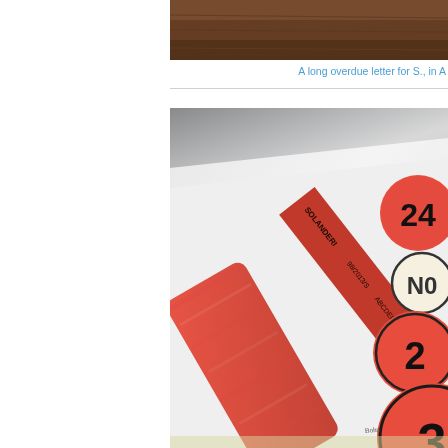[Figure (photo): Partial top strip of a brown wooden surface, cropped at top of page]
A long overdue letter for S., in A
[Figure (photo): Close-up photo of a white paper/print with red painted stripes and red circular numbered stickers showing numbers 2, 3 and partial others, with black text on a red diagonal strip reading partial text]